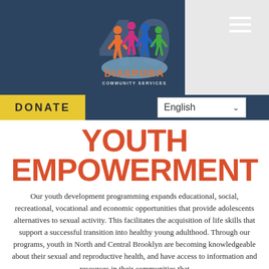[Figure (logo): Diaspora Community Services 40th anniversary logo with colorful silhouette figures and globe]
DONATE | English
YOUTH EMPOWERMENT
Our youth development programming expands educational, social, recreational, vocational and economic opportunities that provide adolescents alternatives to sexual activity. This facilitates the acquisition of life skills that support a successful transition into healthy young adulthood. Through our programs, youth in North and Central Brooklyn are becoming knowledgeable about their sexual and reproductive health, and have access to information and resources in their communities that